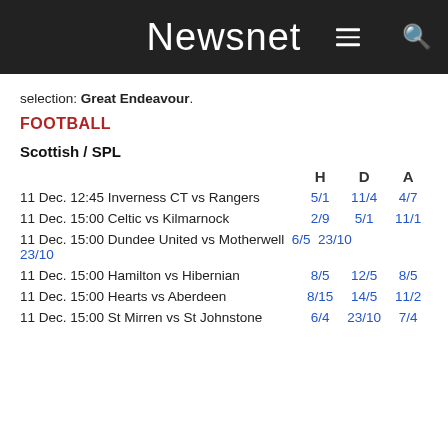Newsnet
selection: Great Endeavour.
FOOTBALL
Scottish / SPL
| Match | H | D | A |
| --- | --- | --- | --- |
| 11 Dec. 12:45 Inverness CT vs Rangers | 5/1 | 11/4 | 4/7 |
| 11 Dec. 15:00 Celtic vs Kilmarnock | 2/9 | 5/1 | 11/1 |
| 11 Dec. 15:00 Dundee United vs Motherwell | 6/5 | 23/10 | 23/10 |
| 11 Dec. 15:00 Hamilton vs Hibernian | 8/5 | 12/5 | 8/5 |
| 11 Dec. 15:00 Hearts vs Aberdeen | 8/15 | 14/5 | 11/2 |
| 11 Dec. 15:00 St Mirren vs St Johnstone | 6/4 | 23/10 | 7/4 |